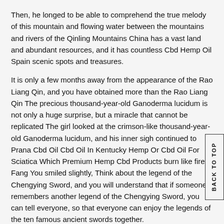Then, he longed to be able to comprehend the true melody of this mountain and flowing water between the mountains and rivers of the Qinling Mountains China has a vast land and abundant resources, and it has countless Cbd Hemp Oil Spain scenic spots and treasures.
It is only a few months away from the appearance of the Rao Liang Qin, and you have obtained more than the Rao Liang Qin The precious thousand-year-old Ganoderma lucidum is not only a huge surprise, but a miracle that cannot be replicated The girl looked at the crimson-like thousand-year-old Ganoderma lucidum, and his inner sigh continued to Prana Cbd Oil Cbd Oil In Kentucky Hemp Or Cbd Oil For Sciatica Which Premium Hemp Cbd Products burn like fire Fang You smiled slightly, Think about the legend of the Chengying Sword, and you will understand that if someone remembers another legend of the Chengying Sword, you can tell everyone, so that everyone can enjoy the legends of the ten famous ancient swords together.
Through the gray airflow, a part of Fang You's mind instantly